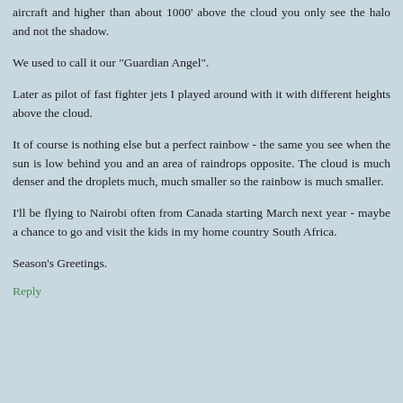aircraft and higher than about 1000' above the cloud you only see the halo and not the shadow.
We used to call it our "Guardian Angel".
Later as pilot of fast fighter jets I played around with it with different heights above the cloud.
It of course is nothing else but a perfect rainbow - the same you see when the sun is low behind you and an area of raindrops opposite. The cloud is much denser and the droplets much, much smaller so the rainbow is much smaller.
I'll be flying to Nairobi often from Canada starting March next year - maybe a chance to go and visit the kids in my home country South Africa.
Season's Greetings.
Reply